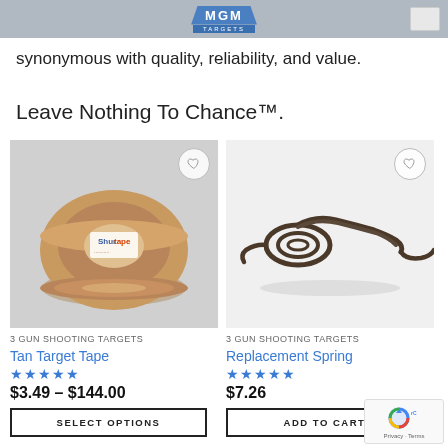MGM TARGETS
synonymous with quality, reliability, and value.
Leave Nothing To Chance™.
[Figure (photo): Roll of tan target tape (Shurtape brand)]
[Figure (photo): Metal replacement spring for shooting target]
3 GUN SHOOTING TARGETS
Tan Target Tape
★★★★★
$3.49 – $144.00
SELECT OPTIONS
3 GUN SHOOTING TARGETS
Replacement Spring
★★★★★
$7.26
ADD TO CART